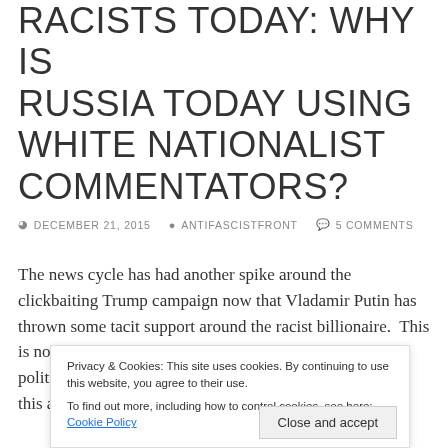RACISTS TODAY: WHY IS RUSSIA TODAY USING WHITE NATIONALIST COMMENTATORS?
DECEMBER 21, 2015   ANTIFASCISTFRONT   5 COMMENTS
The news cycle has had another spike around the clickbaiting Trump campaign now that Vladamir Putin has thrown some tacit support around the racist billionaire.  This is not surprising given Russia's use of racialist internal politics and support of nationalists in Eastern Europe, but this also stokes tensions between Trump and the GOP as the Republican...
Privacy & Cookies: This site uses cookies. By continuing to use this website, you agree to their use.
To find out more, including how to control cookies, see here: Cookie Policy
Close and accept
somewhat sensationalized news coverage.